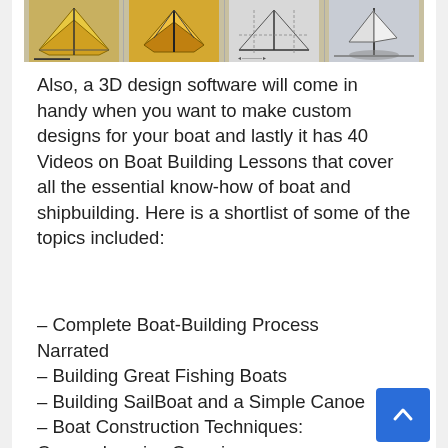[Figure (illustration): Strip of four boat design/diagram images showing 3D boat models and technical drawings]
Also, a 3D design software will come in handy when you want to make custom designs for your boat and lastly it has 40 Videos on Boat Building Lessons that cover all the essential know-how of boat and shipbuilding. Here is a shortlist of some of the topics included:
– Complete Boat-Building Process Narrated
– Building Great Fishing Boats
– Building SailBoat and a Simple Canoe
– Boat Construction Techniques: Comprehensive Overview
– Placing Forms and Making Rivets
– Sport Submarine – great for underwater explorations